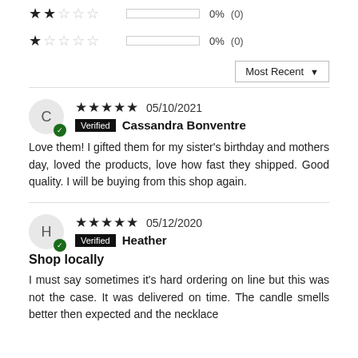★★☆☆☆  0%  (0)
★☆☆☆☆  0%  (0)
Most Recent ▼
★★★★★ 05/10/2021  Verified  Cassandra Bonventre
Love them! I gifted them for my sister's birthday and mothers day, loved the products, love how fast they shipped. Good quality. I will be buying from this shop again.
★★★★★ 05/12/2020  Verified  Heather
Shop locally
I must say sometimes it's hard ordering on line but this was not the case. It was delivered on time. The candle smells better then expected and the necklace